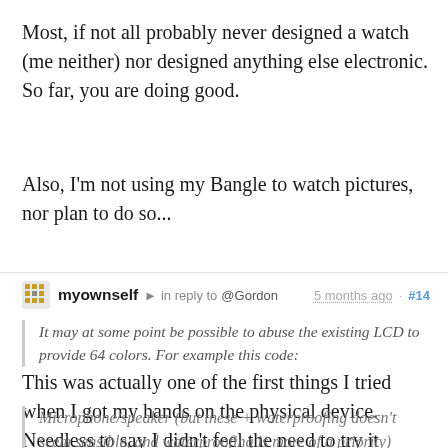Most, if not all probably never designed a watch (me neither) nor designed anything else electronic. So far, you are doing good.
Also, I'm not using my Bangle to watch pictures, nor plan to do so...
myownself → in reply to @Gordon   5 months ago · #14
It may at some point be possible to abuse the existing LCD to provide 64 colors. For example this code:
This was actually one of the first things I tried when I got my hands on the physical device. Needless to say I didn't feel the need to try it again.
Microphone/speaker (but these + waterproofing doesn't seem sensible, and waterproofing is more of a priority)
I wouldn't need, maybe even want, a microphone, but a